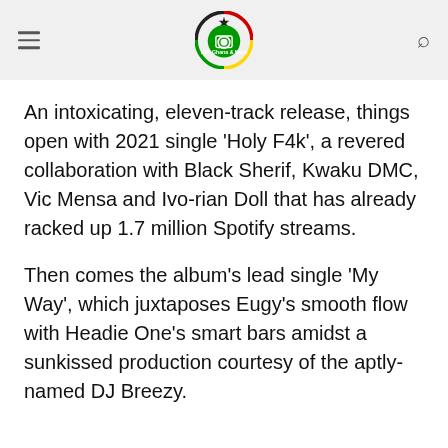[AG logo, hamburger menu, search icon]
An intoxicating, eleven-track release, things open with 2021 single ‘Holy F4k’, a revered collaboration with Black Sherif, Kwaku DMC, Vic Mensa and Ivo-rian Doll that has already racked up 1.7 million Spotify streams.
Then comes the album’s lead single ‘My Way’, which juxtaposes Eugy’s smooth flow with Headie One’s smart bars amidst a sunkissed production courtesy of the aptly-named DJ Breezy.